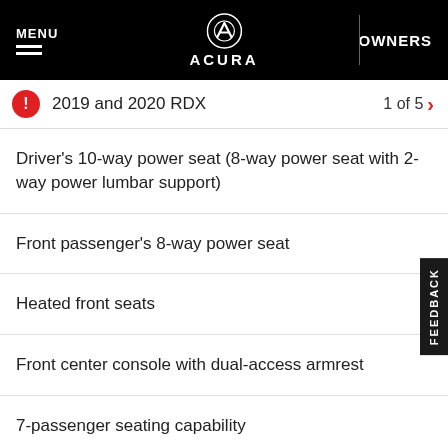MENU | ACURA | OWNERS
2019 and 2020 RDX  1 of 5
Driver's 10-way power seat (8-way power seat with 2-way power lumbar support)
Front passenger's 8-way power seat
Heated front seats
Front center console with dual-access armrest
7-passenger seating capability
Reclining second-row seats